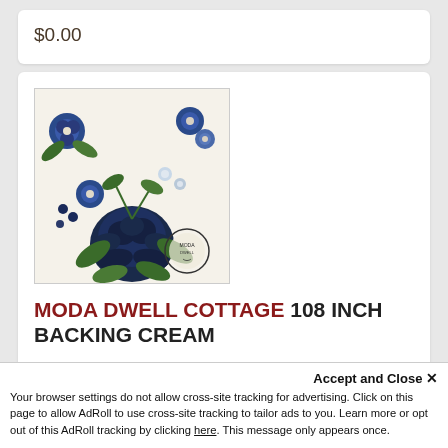$0.00
[Figure (photo): Product photo showing cream fabric with blue and green floral pattern (Moda Dwell Cottage design)]
MODA DWELL COTTAGE 108 INCH BACKING CREAM
Dwell by Camille Roskelley for Moda As much as I love exploring new places, I have to come to terms with the fact that I am and will always be a homebody at heart. There is just something about the
Accept and Close ×
Your browser settings do not allow cross-site tracking for advertising. Click on this page to allow AdRoll to use cross-site tracking to tailor ads to you. Learn more or opt out of this AdRoll tracking by clicking here. This message only appears once.